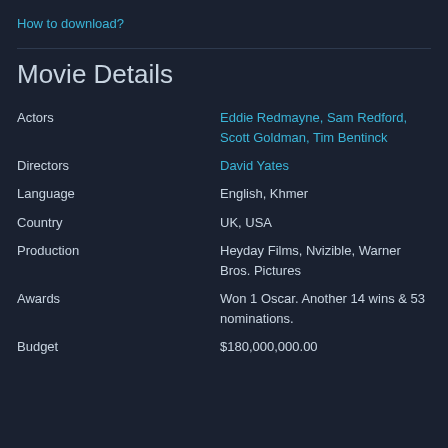How to download?
Movie Details
| Field | Value |
| --- | --- |
| Actors | Eddie Redmayne, Sam Redford, Scott Goldman, Tim Bentinck |
| Directors | David Yates |
| Language | English, Khmer |
| Country | UK, USA |
| Production | Heyday Films, Nvizible, Warner Bros. Pictures |
| Awards | Won 1 Oscar. Another 14 wins & 53 nominations. |
| Budget | $180,000,000.00 |